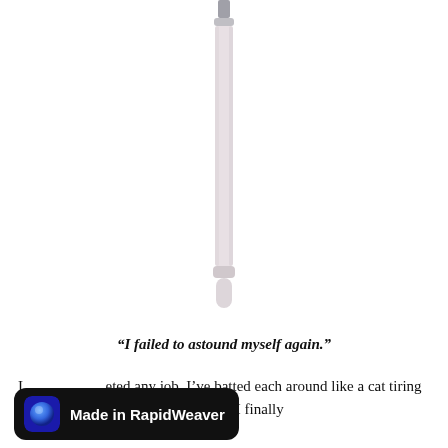[Figure (illustration): A long thin stylus or pencil-like object oriented vertically, with a metallic silver tip at top and a rounded cap at the bottom, set against a white background.]
“I failed to astound myself again.”
I never completed any job. I’ve batted each around like a cat tiring a terrified mouse until the mouse or I finally